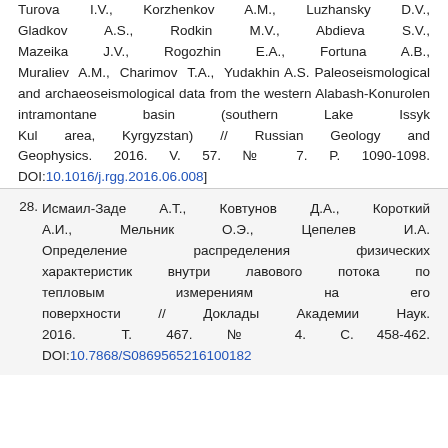Turova I.V., Korzhenkov A.M., Luzhansky D.V., Gladkov A.S., Rodkin M.V., Abdieva S.V., Mazeika J.V., Rogozhin E.A., Fortuna A.B., Muraliev A.M., Charimov T.A., Yudakhin A.S. Paleoseismological and archaeoseismological data from the western Alabash-Konurolen intramontane basin (southern Lake Issyk Kul area, Kyrgyzstan) // Russian Geology and Geophysics. 2016. V. 57. № 7. P. 1090-1098. DOI:10.1016/j.rgg.2016.06.008]
28. Исмаил-Заде А.Т., Ковтунов Д.А., Короткий А.И., Мельник О.Э., Цепелев И.А. Определение распределения физических характеристик внутри лавового потока по тепловым измерениям на его поверхности // Доклады Академии Наук. 2016. Т. 467. № 4. С. 458-462. DOI:10.7868/S0869565216100182